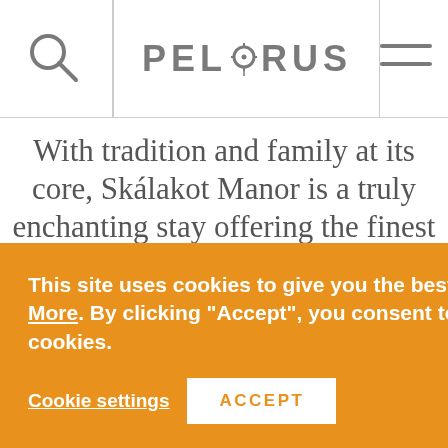PELORUS
With tradition and family at its core, Skálakot Manor is a truly enchanting stay offering the finest hospitality and warmth. Spend your days exploring Iceland's iconic sights before being welcomed to this tranquil and peaceful home.
This site uses cookies to give you the best experience. Read More. By clicking "Accept", you consent to the use of ALL the cookies.
Cookie settings  ACCEPT